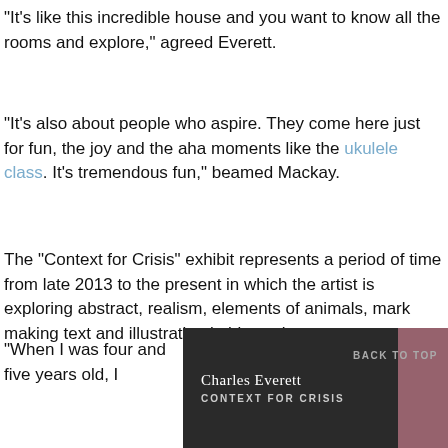“It’s like this incredible house and you want to know all the rooms and explore,” agreed Everett.
“It’s also about people who aspire. They come here just for fun, the joy and the aha moments like the ukulele class. It’s tremendous fun,” beamed Mackay.
The “Context for Crisis” exhibit represents a period of time from late 2013 to the present in which the artist is exploring abstract, realism, elements of animals, mark making text and illustration in his work.
“When I was four and five years old, I
[Figure (photo): Dark background photo showing Charles Everett Context for Crisis exhibit sign with pink accent. Text reads 'Charles Everett' and 'CONTEXT FOR CRISIS'. A 'BACK TO TOP' button is visible in the upper right.]